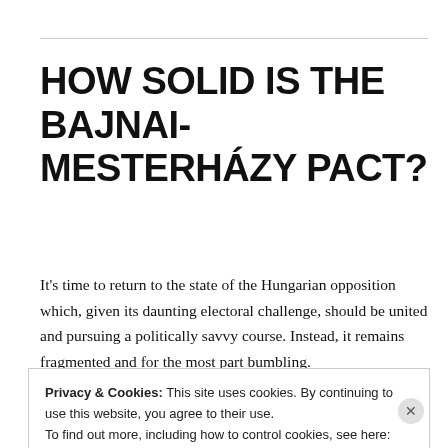HOW SOLID IS THE BAJNAI-MESTERHÁZY PACT?
It's time to return to the state of the Hungarian opposition which, given its daunting electoral challenge, should be united and pursuing a politically savvy course. Instead, it remains fragmented and for the most part bumbling.
Privacy & Cookies: This site uses cookies. By continuing to use this website, you agree to their use.
To find out more, including how to control cookies, see here: Cookie Policy
Close and accept